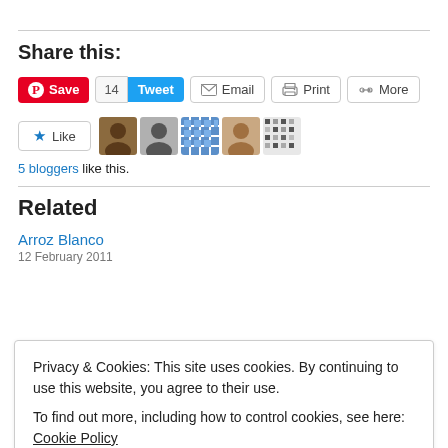Share this:
[Figure (screenshot): Social sharing buttons: Pinterest Save, Tweet (14), Email, Print, More]
[Figure (screenshot): Like button with star icon and 5 blogger avatars]
5 bloggers like this.
Related
Arroz Blanco
12 February 2011
Privacy & Cookies: This site uses cookies. By continuing to use this website, you agree to their use.
To find out more, including how to control cookies, see here: Cookie Policy
Close and accept
Vaca Frita